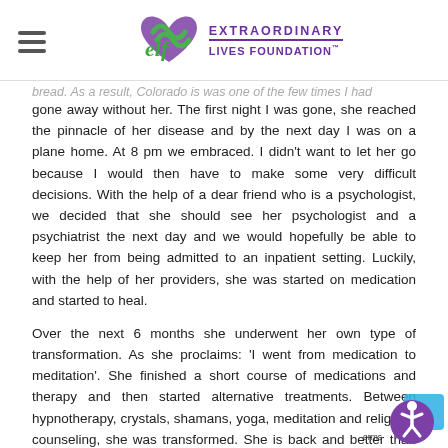Extraordinary Lives Foundation
…bread. As a result, Colorado is was one of the few times I had gone away without her. The first night I was gone, she reached the pinnacle of her disease and by the next day I was on a plane home. At 8 pm we embraced. I didn't want to let her go because I would then have to make some very difficult decisions. With the help of a dear friend who is a psychologist, we decided that she should see her psychologist and a psychiatrist the next day and we would hopefully be able to keep her from being admitted to an inpatient setting. Luckily, with the help of her providers, she was started on medication and started to heal.
Over the next 6 months she underwent her own type of transformation. As she proclaims: 'I went from medication to meditation'. She finished a short course of medications and therapy and then started alternative treatments. Between hypnotherapy, crystals, shamans, yoga, meditation and religious counseling, she was transformed. She is back and better than ever!